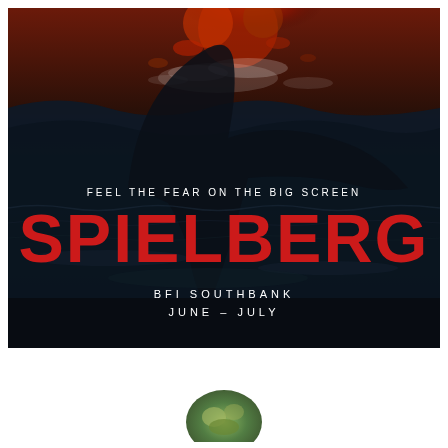[Figure (illustration): Movie poster for 'Spielberg' at BFI Southbank. Dark background with ocean waves and splashing water. A large curved shape (shark fin or wave) silhouetted against the image. Red explosive element at top. Text overlay: 'FEEL THE FEAR ON THE BIG SCREEN' in white caps, 'SPIELBERG' in large bold red letters, 'BFI SOUTHBANK' and 'JUNE – JULY' in white spaced caps.]
[Figure (photo): Partial image at bottom of page on white background — appears to be a partial view of another poster or image, showing a colorful circular/organic shape at bottom center.]